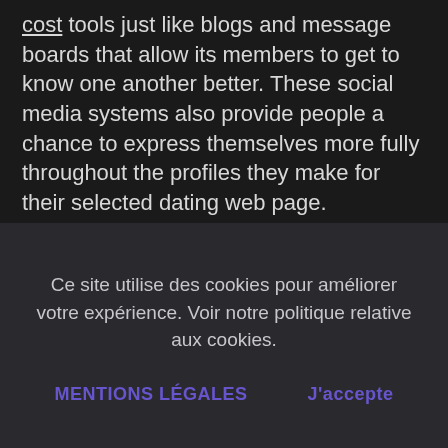cost tools just like blogs and message boards that allow its members to get to know one another better. These social media systems also provide people a chance to express themselves more fully throughout the profiles they make for their selected dating web page.

When you generate a profile on one for these dating websites, the internet dating
Ce site utilise des cookies pour améliorer votre expérience. Voir notre politique relative aux cookies.
MENTIONS LÉGALES   J'accepte
addition, it gives you to be able to make